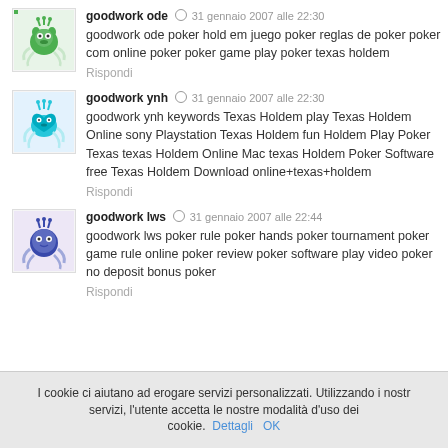goodwork ode ⊙ 31 gennaio 2007 alle 22:30
goodwork ode poker hold em juego poker reglas de poker poker com online poker poker game play poker texas holdem
Rispondi
goodwork ynh ⊙ 31 gennaio 2007 alle 22:30
goodwork ynh keywords Texas Holdem play Texas Holdem Online sony Playstation Texas Holdem fun Holdem Play Poker Texas texas Holdem Online Mac texas Holdem Poker Software free Texas Holdem Download online+texas+holdem
Rispondi
goodwork lws ⊙ 31 gennaio 2007 alle 22:44
goodwork lws poker rule poker hands poker tournament poker game rule online poker review poker software play video poker no deposit bonus poker
Rispondi
I cookie ci aiutano ad erogare servizi personalizzati. Utilizzando i nostri servizi, l'utente accetta le nostre modalità d'uso dei cookie. Dettagli OK